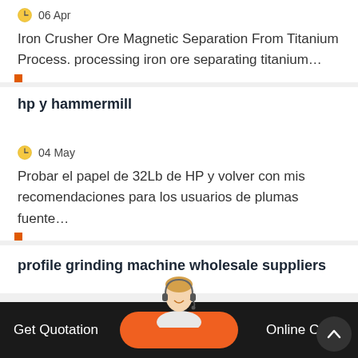06 Apr
Iron Crusher Ore Magnetic Separation From Titanium Process. processing iron ore separating titanium...
hp y hammermill
04 May
Probar el papel de 32Lb de HP y volver con mis recomendaciones para los usuarios de plumas fuente...
profile grinding machine wholesale suppliers
Get Quotation   Online Chat